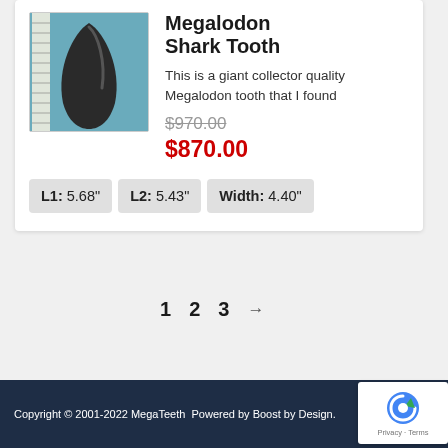[Figure (photo): Megalodon shark tooth fossil photo against blue background with ruler]
Megalodon Shark Tooth
This is a giant collector quality Megalodon tooth that I found
$970.00 $870.00
L1: 5.68"  L2: 5.43"  Width: 4.40"
1  2  3  →
Copyright © 2001-2022 MegaTeeth  Powered by Boost by Design.